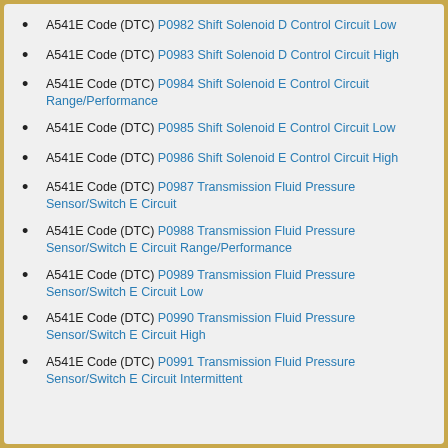A541E Code (DTC) P0982 Shift Solenoid D Control Circuit Low
A541E Code (DTC) P0983 Shift Solenoid D Control Circuit High
A541E Code (DTC) P0984 Shift Solenoid E Control Circuit Range/Performance
A541E Code (DTC) P0985 Shift Solenoid E Control Circuit Low
A541E Code (DTC) P0986 Shift Solenoid E Control Circuit High
A541E Code (DTC) P0987 Transmission Fluid Pressure Sensor/Switch E Circuit
A541E Code (DTC) P0988 Transmission Fluid Pressure Sensor/Switch E Circuit Range/Performance
A541E Code (DTC) P0989 Transmission Fluid Pressure Sensor/Switch E Circuit Low
A541E Code (DTC) P0990 Transmission Fluid Pressure Sensor/Switch E Circuit High
A541E Code (DTC) P0991 Transmission Fluid Pressure Sensor/Switch E Circuit Intermittent